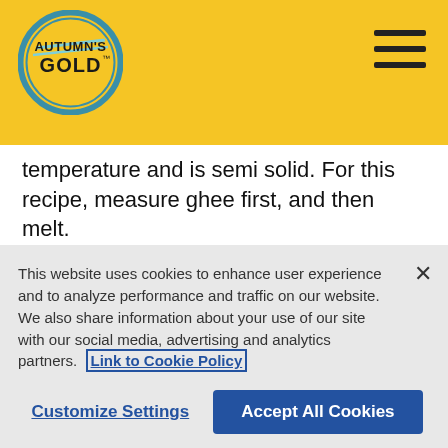[Figure (logo): Autumn's Gold circular logo with teal/blue border and yellow background]
temperature and is semi solid. For this recipe, measure ghee first, and then melt.
1 medium lemon yields about 3 tablespoons juice and 2 to 3 teaspoons grated lemon zest. Leftover citrus juice? Store in the refrigerator for another recipe.
To serve, top pieces with whipped cream or
This website uses cookies to enhance user experience and to analyze performance and traffic on our website. We also share information about your use of our site with our social media, advertising and analytics partners. Link to Cookie Policy
Customize Settings
Accept All Cookies